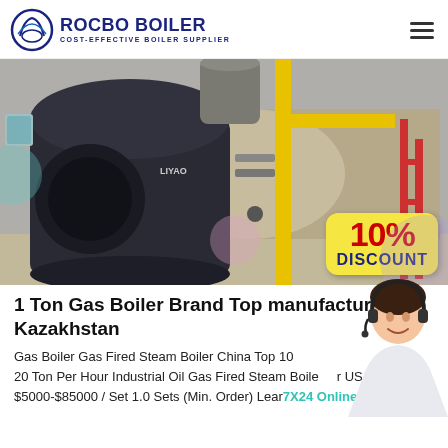ROCBO BOILER — COST-EFFECTIVE BOILER SUPPLIER
[Figure (photo): Industrial gas/oil fired steam boiler in a factory setting, with a 10% DISCOUNT badge overlay]
1 Ton Gas Boiler Brand Top manufacturer Kazakhstan
Gas Boiler Gas Fired Steam Boiler China Top 10 20 Ton Per Hour Industrial Oil Gas Fired Steam Boiler US $5000-$85000 / Set 1.0 Sets (Min. Order) Learn China Online